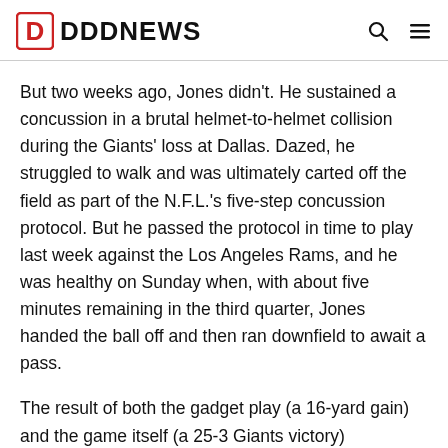DDDNEWS
But two weeks ago, Jones didn't. He sustained a concussion in a brutal helmet-to-helmet collision during the Giants' loss at Dallas. Dazed, he struggled to walk and was ultimately carted off the field as part of the N.F.L.'s five-step concussion protocol. But he passed the protocol in time to play last week against the Los Angeles Rams, and he was healthy on Sunday when, with about five minutes remaining in the third quarter, Jones handed the ball off and then ran downfield to await a pass.
The result of both the gadget play (a 16-yard gain) and the game itself (a 25-3 Giants victory) overshadowed the most important aspect of the whole endeavor: Why, considering Jones's recent head injury, was it even called at all?